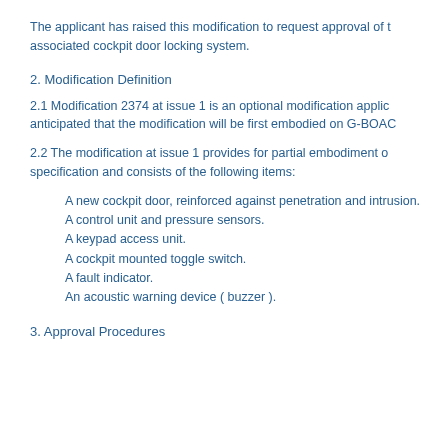The applicant has raised this modification to request approval of the associated cockpit door locking system.
2. Modification Definition
2.1 Modification 2374 at issue 1 is an optional modification applic... anticipated that the modification will be first embodied on G-BOAC...
2.2 The modification at issue 1 provides for partial embodiment o... specification and consists of the following items:
A new cockpit door, reinforced against penetration and intrusion.
A control unit and pressure sensors.
A keypad access unit.
A cockpit mounted toggle switch.
A fault indicator.
An acoustic warning device ( buzzer ).
3. Approval Procedures